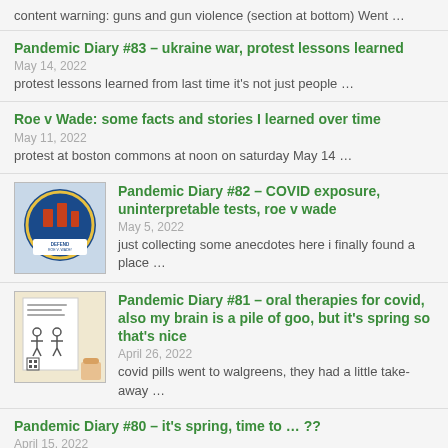content warning: guns and gun violence (section at bottom) Went …
Pandemic Diary #83 – ukraine war, protest lessons learned
May 14, 2022
protest lessons learned from last time it's not just people …
Roe v Wade: some facts and stories I learned over time
May 11, 2022
protest at boston commons at noon on saturday May 14 …
[Figure (photo): Blue circular sticker saying DEFEND ROE V. WADE!]
Pandemic Diary #82 – COVID exposure, uninterpretable tests, roe v wade
May 5, 2022
just collecting some anecdotes here i finally found a place …
[Figure (photo): Document or pamphlet with stick figure illustrations and QR code]
Pandemic Diary #81 – oral therapies for covid, also my brain is a pile of goo, but it's spring so that's nice
April 26, 2022
covid pills went to walgreens, they had a little take-away …
Pandemic Diary #80 – it's spring, time to … ??
April 15, 2022
ive def gotten more work done on the right things …